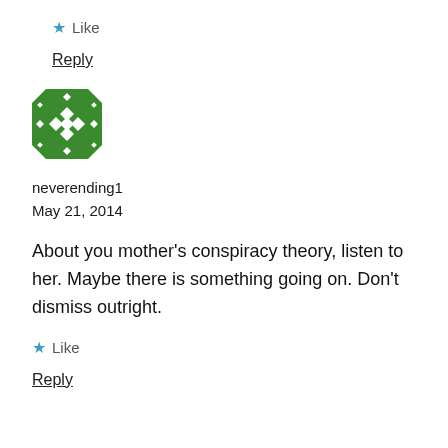★ Like
Reply
[Figure (illustration): Green and white geometric/mosaic avatar icon for user neverending1]
neverending1
May 21, 2014
About you mother's conspiracy theory, listen to her. Maybe there is something going on. Don't dismiss outright.
★ Like
Reply